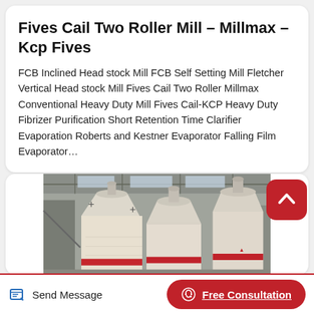Fives Cail Two Roller Mill – Millmax – Kcp Fives
FCB Inclined Head stock Mill FCB Self Setting Mill Fletcher Vertical Head stock Mill Fives Cail Two Roller Millmax Conventional Heavy Duty Mill Fives Cail-KCP Heavy Duty Fibrizer Purification Short Retention Time Clarifier Evaporation Roberts and Kestner Evaporator Falling Film Evaporator…
[Figure (photo): Industrial roller mill machinery wrapped in white protective material with red accent bands, photographed inside a factory/industrial setting. Multiple large cylindrical/conical mill units visible.]
Send Message
Free Consultation